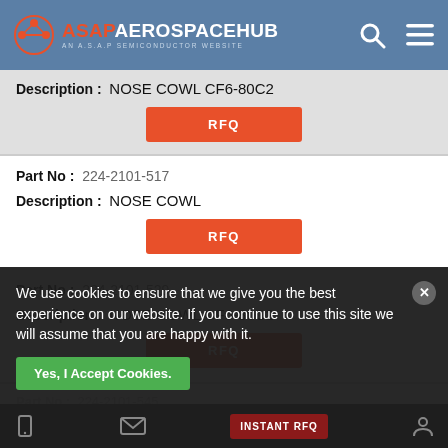[Figure (logo): ASAP Aerospace Hub logo with orange icon and white text on blue header bar]
Description : NOSE COWL CF6-80C2
RFQ
Part No : 224-2101-517
Description : NOSE COWL
RFQ
Part No : 224-2101-529
Description : NOSE COWL CF6-80C2
RFQ
Part No : 224-2101-545
We use cookies to ensure that we give you the best experience on our website. If you continue to use this site we will assume that you are happy with it.
Yes, I Accept Cookies.